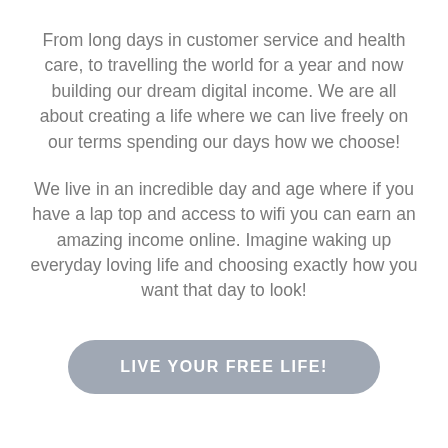From long days in customer service and health care, to travelling the world for a year and now building our dream digital income. We are all about creating a life where we can live freely on our terms spending our days how we choose!
We live in an incredible day and age where if you have a lap top and access to wifi you can earn an amazing income online. Imagine waking up everyday loving life and choosing exactly how you want that day to look!
LIVE YOUR FREE LIFE!